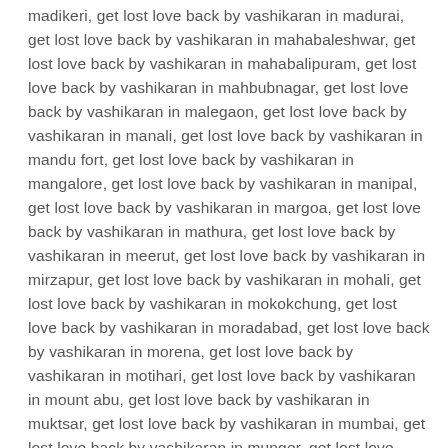madikeri, get lost love back by vashikaran in madurai, get lost love back by vashikaran in mahabaleshwar, get lost love back by vashikaran in mahabalipuram, get lost love back by vashikaran in mahbubnagar, get lost love back by vashikaran in malegaon, get lost love back by vashikaran in manali, get lost love back by vashikaran in mandu fort, get lost love back by vashikaran in mangalore, get lost love back by vashikaran in manipal, get lost love back by vashikaran in margoa, get lost love back by vashikaran in mathura, get lost love back by vashikaran in meerut, get lost love back by vashikaran in mirzapur, get lost love back by vashikaran in mohali, get lost love back by vashikaran in mokokchung, get lost love back by vashikaran in moradabad, get lost love back by vashikaran in morena, get lost love back by vashikaran in motihari, get lost love back by vashikaran in mount abu, get lost love back by vashikaran in muktsar, get lost love back by vashikaran in mumbai, get lost love back by vashikaran in munger, get lost love back by vashikaran in munnar, get lost love back by vashikaran in mussoorie, get lost love back by vashikaran in muzaffarnagar, get lost love back by